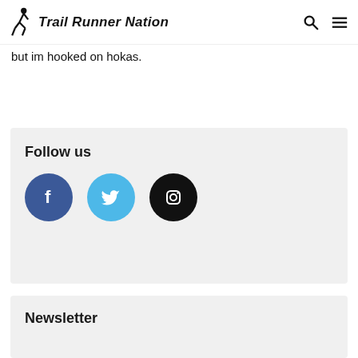Trail Runner Nation
but im hooked on hokas.
Follow us
[Figure (infographic): Social media icons: Facebook (blue circle with f), Twitter (light blue circle with bird), Instagram (black circle with camera icon)]
Newsletter